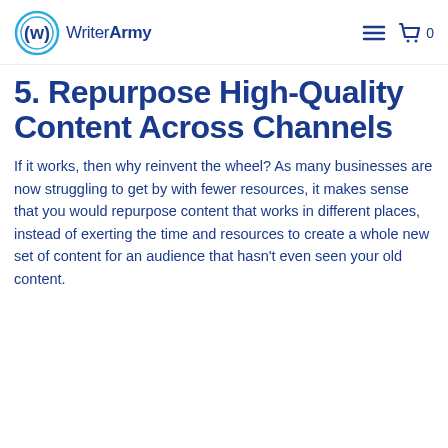WriterArmy
5. Repurpose High-Quality Content Across Channels
If it works, then why reinvent the wheel? As many businesses are now struggling to get by with fewer resources, it makes sense that you would repurpose content that works in different places, instead of exerting the time and resources to create a whole new set of content for an audience that hasn't even seen your old content.